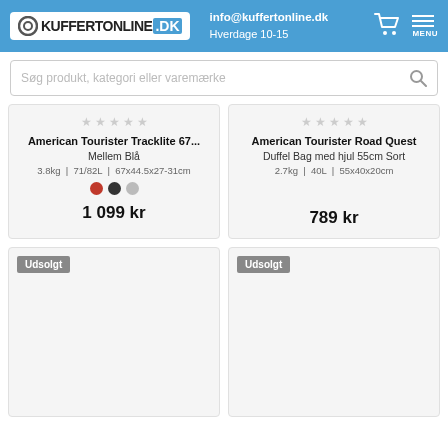KUFFERTONLINE.DK | info@kuffertonline.dk | Hverdage 10-15
Søg produkt, kategori eller varemærke
American Tourister Tracklite 67... Mellem Blå
3.8kg | 71/82L | 67x44.5x27-31cm
1 099 kr
American Tourister Road Quest Duffel Bag med hjul 55cm Sort
2.7kg | 40L | 55x40x20cm
789 kr
Udsolgt
Udsolgt